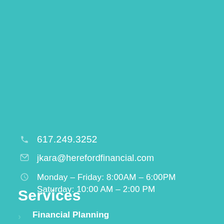617.249.3252
jkara@herefordfinancial.com
Monday – Friday: 8:00AM – 6:00PM
Saturday: 10:00 AM – 2:00 PM
Services
Financial Planning